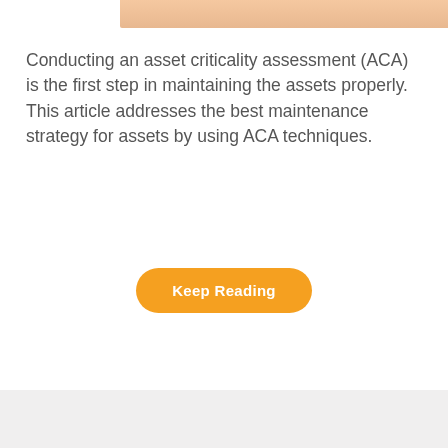[Figure (photo): Partial view of a photo showing hands writing or working with documents, cropped at the top of the page]
Conducting an asset criticality assessment (ACA) is the first step in maintaining the assets properly. This article addresses the best maintenance strategy for assets by using ACA techniques.
Keep Reading